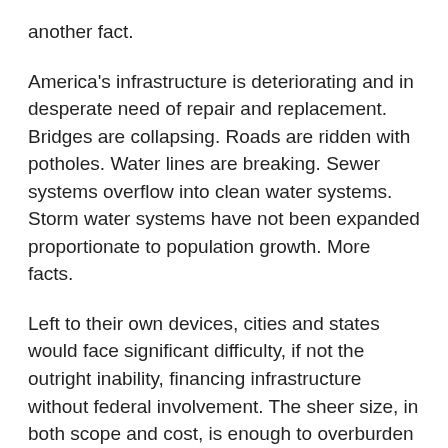another fact.
America's infrastructure is deteriorating and in desperate need of repair and replacement. Bridges are collapsing. Roads are ridden with potholes. Water lines are breaking. Sewer systems overflow into clean water systems. Storm water systems have not been expanded proportionate to population growth. More facts.
Left to their own devices, cities and states would face significant difficulty, if not the outright inability, financing infrastructure without federal involvement. The sheer size, in both scope and cost, is enough to overburden even a state budget, let alone a small municipality. Requiring states to shoulder the cost and administration of infrastructure creates an inconsistent network across the country. If the federal government requires some sort of